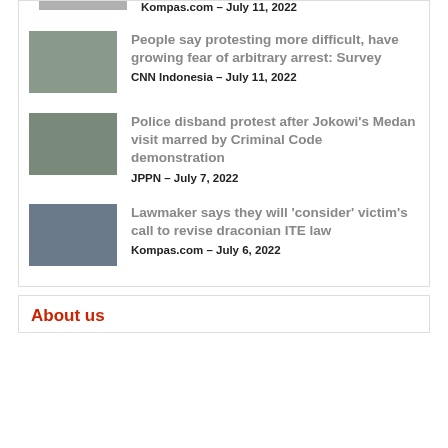[Figure (photo): Partial top news item thumbnail, cropped]
Kompas.com – July 11, 2022
[Figure (photo): Photo of protest scene with police]
People say protesting more difficult, have growing fear of arbitrary arrest: Survey
CNN Indonesia – July 11, 2022
[Figure (photo): Photo of protest crowd]
Police disband protest after Jokowi's Medan visit marred by Criminal Code demonstration
JPPN – July 7, 2022
[Figure (photo): Photo of parliament or meeting room]
Lawmaker says they will 'consider' victim's call to revise draconian ITE law
Kompas.com – July 6, 2022
About us